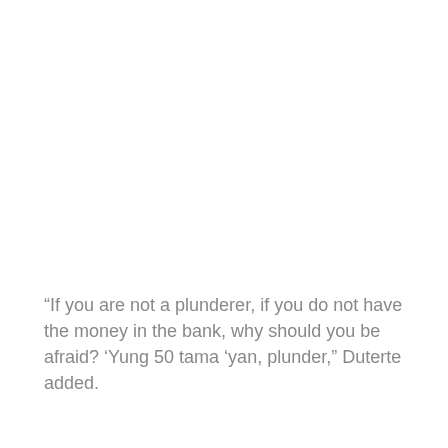“If you are not a plunderer, if you do not have the money in the bank, why should you be afraid? ‘Yung 50 tama ‘yan, plunder,” Duterte added.